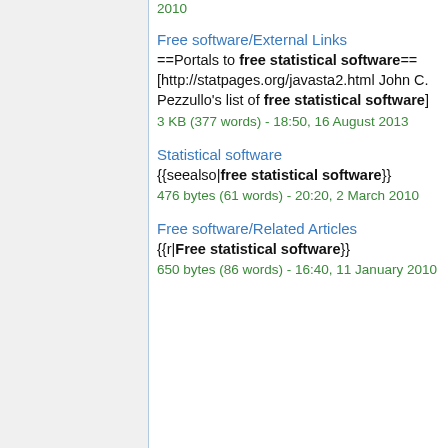2010
Free software/External Links
==Portals to free statistical software==
[http://statpages.org/javasta2.html John C. Pezzullo's list of free statistical software]
3 KB (377 words) - 18:50, 16 August 2013
Statistical software
{{seealso|free statistical software}}
476 bytes (61 words) - 20:20, 2 March 2010
Free software/Related Articles
{{r|Free statistical software}}
650 bytes (86 words) - 16:40, 11 January 2010